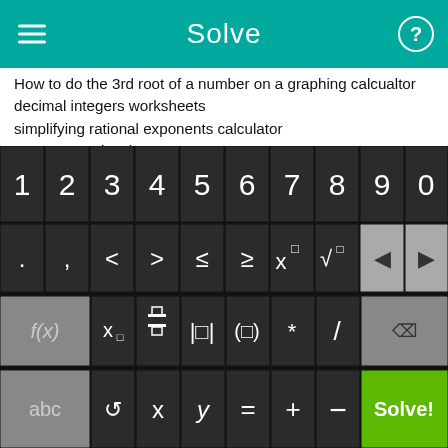Solve
How to do the 3rd root of a number on a graphing calcualtor
decimal integers worksheets
simplifying rational exponents calculator
year two maths sheet
finding least common multiple with variables
balancing equations with fractions (maths)
find inverse trigo function
simplify expression calculator with positive exponents
cummulative review ch1 to 9 high school north carolina
mcdougal litell algebra 2
[Figure (screenshot): On-screen math keyboard with digit keys 1-0, operator keys including <, >, ≤, ≥, x^□, √, backspace, forward, f(x), x subscript, fraction, absolute value, parentheses, multiply, divide, delete, abc, rotate, x, y, equals, plus, minus, and Solve! button]